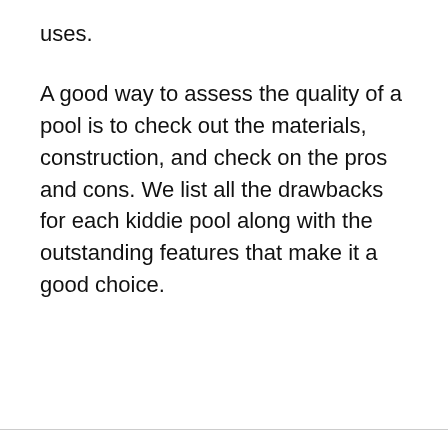uses.
A good way to assess the quality of a pool is to check out the materials, construction, and check on the pros and cons. We list all the drawbacks for each kiddie pool along with the outstanding features that make it a good choice.